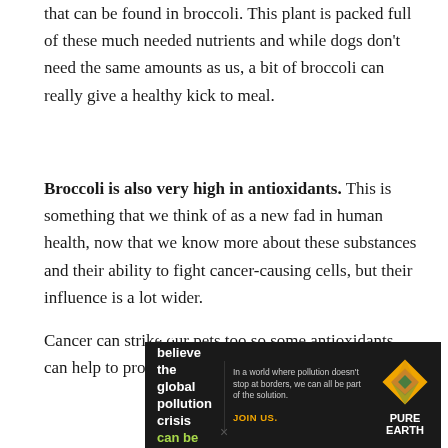that can be found in broccoli. This plant is packed full of these much needed nutrients and while dogs don't need the same amounts as us, a bit of broccoli can really give a healthy kick to meal.
Broccoli is also very high in antioxidants. This is something that we think of as a new fad in human health, now that we know more about these substances and their ability to fight cancer-causing cells, but their influence is a lot wider.
Cancer can strike our pets too so some antioxidants can help to protect their vulnerable bodies against
[Figure (infographic): Advertisement banner for Pure Earth. Black background. Left side: 'We believe the global pollution crisis can be solved.' with 'can be solved.' in green. Center text: 'In a world where pollution doesn't stop at borders, we can all be part of the solution. JOIN US.' with JOIN US in yellow/orange. Right side: Pure Earth diamond logo and PURE EARTH text in white.]
×